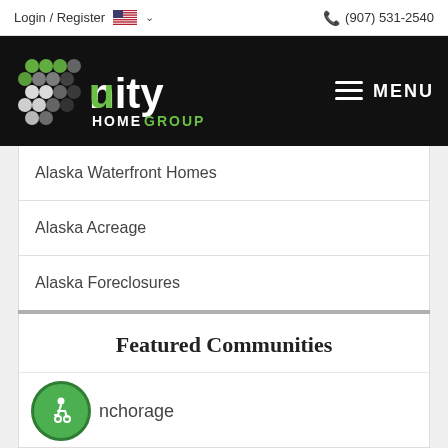Login / Register  (907) 531-2540
[Figure (logo): Unity Home Group logo on black background with hamburger menu icon and MENU text]
Alaska Waterfront Homes
Alaska Acreage
Alaska Foreclosures
Alaska Short Sales
Featured Communities
Anchorage